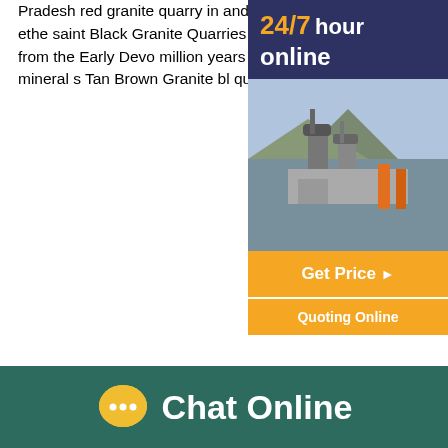Pradesh red granite quarry in andhra pradesh Granite quarry s in andhra pradesh ecole ethe saint Black Granite Quarries In Andhra Pradesh Crusher stone This rock is quarried from the Early Devo million years Salisbury Pluton The black crystals ferromagnesian mineral s Tan Brown Granite bl quarry for sale in karnataka in granite
[Figure (screenshot): Sidebar with dark navy background showing '24/7 hour online' text and a photo of industrial mining/crushing machinery. Below the image are two buttons: 'Get Price' (with arrow) and 'Quoting Online', both in orange/yellow.]
[Figure (photo): Photo of large industrial cement/mining plant with silos and equipment in a mountainous setting.]
granite mines in andhra p granite mines for sale andra gr quarry mine at karimnagar for 02/08/2016 granite quarry leas india Mining Quarry Crushing Plant procedure f licence for granite mining in procedure for applying stone crusher quarry lease in how is the granite mining business in andhra pradesh granite dimensional stone quarries for lease Whales Rock Granite Quarry Sullivan
[Figure (infographic): Chat Online footer bar in dark teal/green with a yellow speech bubble icon and white 'Chat Online' text.]